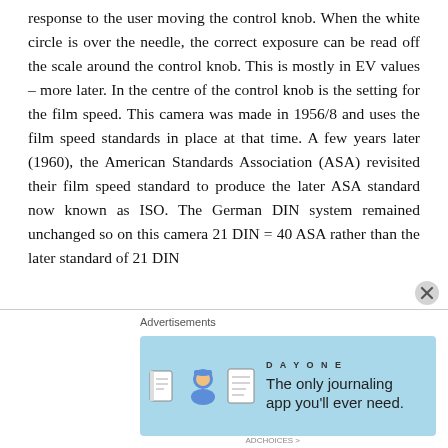response to the user moving the control knob. When the white circle is over the needle, the correct exposure can be read off the scale around the control knob. This is mostly in EV values – more later. In the centre of the control knob is the setting for the film speed. This camera was made in 1956/8 and uses the film speed standards in place at that time. A few years later (1960), the American Standards Association (ASA) revisited their film speed standard to produce the later ASA standard now known as ISO. The German DIN system remained unchanged so on this camera 21 DIN = 40 ASA rather than the later standard of 21 DIN...
Advertisements
[Figure (illustration): Advertisement banner for Day One journaling app with light blue background, showing app icons and the text 'The only journaling app you'll ever need.']